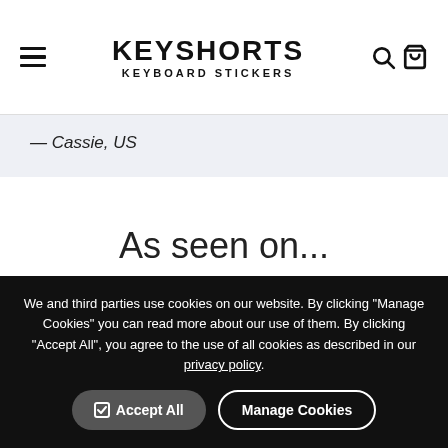KEYSHORTS KEYBOARD STICKERS
— Cassie, US
As seen on...
"Do not th...
We and third parties use cookies on our website. By clicking "Manage Cookies" you can read more about our use of them. By clicking "Accept All", you agree to the use of all cookies as described in our privacy policy.